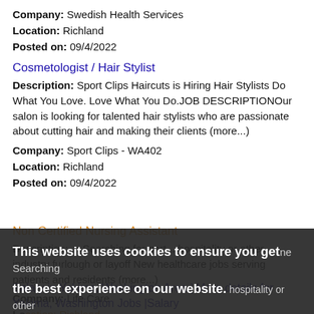Company: Swedish Health Services
Location: Richland
Posted on: 09/4/2022
Cosmetologist / Hair Stylist
Description: Sport Clips Haircuts is Hiring Hair Stylists Do What You Love. Love What You Do.JOB DESCRIPTIONOur salon is looking for talented hair stylists who are passionate about cutting hair and making their clients (more...)
Company: Sport Clips - WA402
Location: Richland
Posted on: 09/4/2022
Non Certified Nursing Assistant
Description: ... Searching for part... hospitality or other industry furlough or layoff New healthcare jobs serving patients and residents (more...)
Company: Life Care
Location: Richland
Posted on: 09/4/2022
This website uses cookies to ensure you get the best experience on our website.
Learn more
Got it!
Salary in Yakima, Washington Area | More details for Yakima, Washington Jobs |Salary